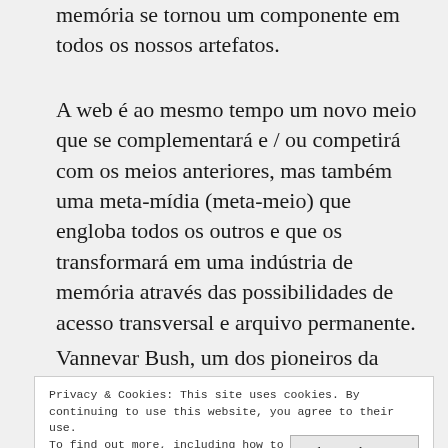memória se tornou um componente em todos os nossos artefatos.
A web é ao mesmo tempo um novo meio que se complementará e / ou competirá com os meios anteriores, mas também uma meta-mídia (meta-meio) que engloba todos os outros e que os transformará em uma indústria de memória através das possibilidades de acesso transversal e arquivo permanente.
Vannevar Bush, um dos pioneiros da Internet,
Privacy & Cookies: This site uses cookies. By continuing to use this website, you agree to their use.
To find out more, including how to control cookies, see here: Cookie Policy
Close and accept